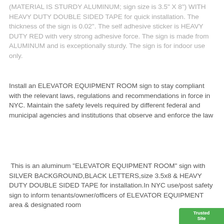(MATERIAL IS STURDY ALUMINUM; sign size is 3.5" X 8") WITH HEAVY DUTY DOUBLE SIDED TAPE for quick installation. The thickness of the sign is 0.02". The self adhesive sticker is HEAVY DUTY RED with very strong adhesive force. The sign is made from ALUMINUM and is exceptionally sturdy. The sign is for indoor use only.
Install an ELEVATOR EQUIPMENT ROOM sign to stay compliant with the relevant laws, regulations and recommendations in force in NYC. Maintain the safety levels required by different federal and municipal agencies and institutions that observe and enforce the law
This is an aluminum "ELEVATOR EQUIPMENT ROOM" sign with SILVER BACKGROUND,BLACK LETTERS,size 3.5x8 & HEAVY DUTY DOUBLE SIDED TAPE for installation.In NYC use/post safety sign to inform tenants/owner/officers of ELEVATOR EQUIPMENT area & designated room
[Figure (logo): TrustedSite badge in green at bottom right corner]